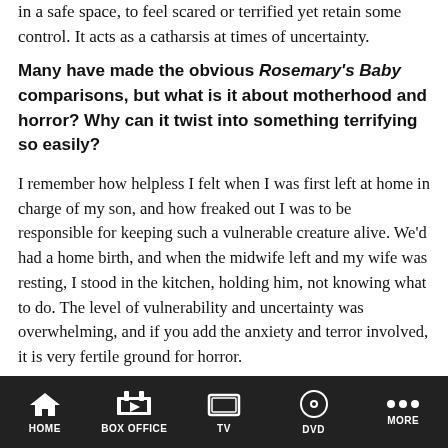in a safe space, to feel scared or terrified yet retain some control. It acts as a catharsis at times of uncertainty.
Many have made the obvious Rosemary's Baby comparisons, but what is it about motherhood and horror? Why can it twist into something terrifying so easily?
I remember how helpless I felt when I was first left at home in charge of my son, and how freaked out I was to be responsible for keeping such a vulnerable creature alive. We'd had a home birth, and when the midwife left and my wife was resting, I stood in the kitchen, holding him, not knowing what to do. The level of vulnerability and uncertainty was overwhelming, and if you add the anxiety and terror involved, it is very fertile ground for horror.
To be totally honest, the truth is that a lot of the characters in the film are reflecting my own experiences as a parent. There is a monologue that Margaret gives about her regrets as a parent, and there is an uncomfortable amount of truth in there about my
HOME  BOX OFFICE  TV  DVD  MORE